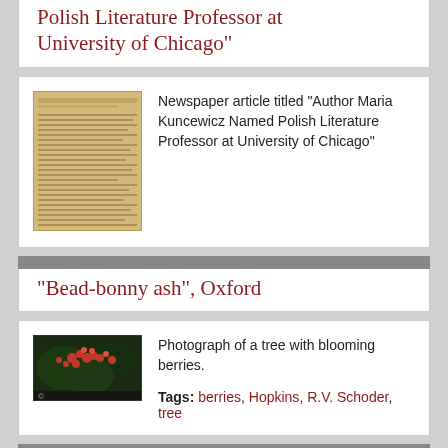Polish Literature Professor at University of Chicago"
[Figure (photo): Thumbnail image of a newspaper article titled 'Author Maria Kuncewicz Named Polish Literature Professor at University of Chicago']
Newspaper article titled "Author Maria Kuncewicz Named Polish Literature Professor at University of Chicago"
"Bead-bonny ash", Oxford
[Figure (photo): Photograph of a tree with blooming berries, dark background with red berries and green foliage]
Photograph of a tree with blooming berries.
Tags: berries, Hopkins, R.V. Schoder, tree